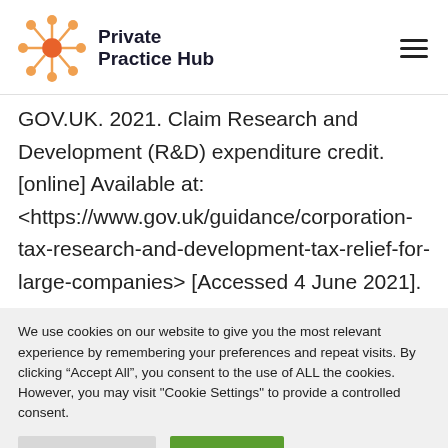Private Practice Hub
GOV.UK. 2021. Claim Research and Development (R&D) expenditure credit. [online] Available at: <https://www.gov.uk/guidance/corporation-tax-research-and-development-tax-relief-for-large-companies> [Accessed 4 June 2021].
We use cookies on our website to give you the most relevant experience by remembering your preferences and repeat visits. By clicking “Accept All”, you consent to the use of ALL the cookies. However, you may visit "Cookie Settings" to provide a controlled consent.